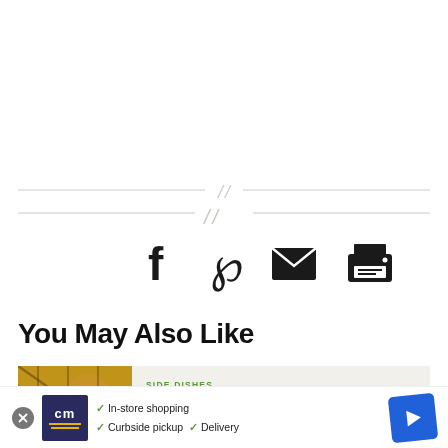[Figure (other): Decorative double-slash divider with horizontal line]
[Figure (other): Social sharing icons: Facebook, Pinterest, Email, Print]
You May Also Like
[Figure (photo): Zucchini and Corn Fritters recipe card with food photo thumbnail, category 'SIDE DISHES', and title 'Zucchini & Corn Fritters']
[Figure (other): Advertisement banner: CM logo, In-store shopping, Curbside pickup, Delivery]